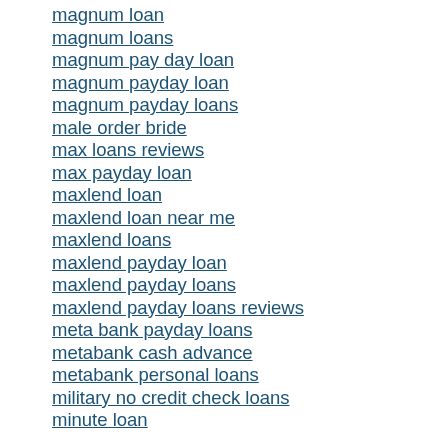magnum loan
magnum loans
magnum pay day loan
magnum payday loan
magnum payday loans
male order bride
max loans reviews
max payday loan
maxlend loan
maxlend loan near me
maxlend loans
maxlend payday loan
maxlend payday loans
maxlend payday loans reviews
meta bank payday loans
metabank cash advance
metabank personal loans
military no credit check loans
minute loan